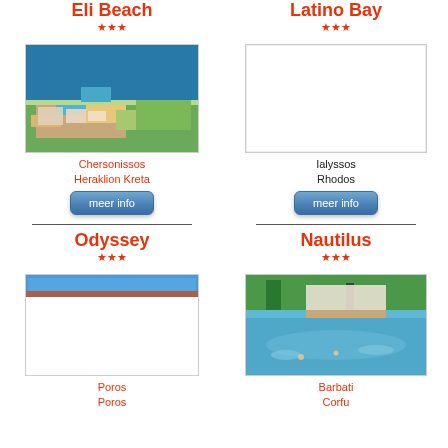Eli Beach
***
[Figure (photo): Aerial photo of Eli Beach resort in Chersonissos, Heraklion Kreta, showing beach, pool and surrounding area]
Chersonissos
Heraklion Kreta
meer info
Latino Bay
***
[Figure (photo): Empty white image placeholder for Latino Bay hotel in Ialyssos, Rhodos]
Ialyssos
Rhodos
meer info
Odyssey
***
[Figure (photo): Partial photo showing top of Odyssey hotel in Poros]
Poros
Poros
Nautilus
***
[Figure (photo): Photo of Nautilus hotel pool area in Barbati, Corfu with trees and buildings]
Barbati
Corfu